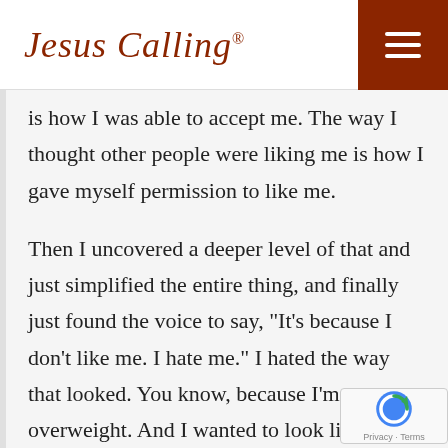Jesus Calling®
is how I was able to accept me. The way I thought other people were liking me is how I gave myself permission to like me.
Then I uncovered a deeper level of that and just simplified the entire thing, and finally just found the voice to say, "It's because I don't like me. I hate me." I hated the way that looked. You know, because I'm overweight. And I wanted to look like someone else always. I always thought that someone else's giftings were greate… And I would appreciate their giftings, but I